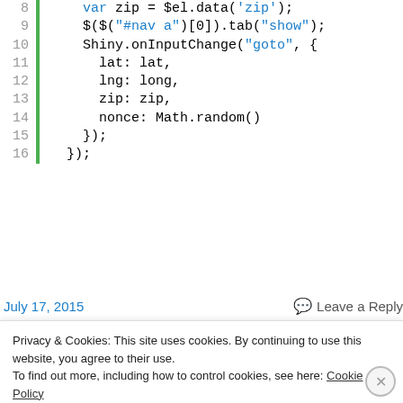Code snippet lines 8-16 showing JavaScript/jQuery code with Shiny.onInputChange
July 17, 2015   💬 Leave a Reply
Men are 5 cm/ 2 inches taller!
Privacy & Cookies: This site uses cookies. By continuing to use this website, you agree to their use.
To find out more, including how to control cookies, see here: Cookie Policy
Close and accept